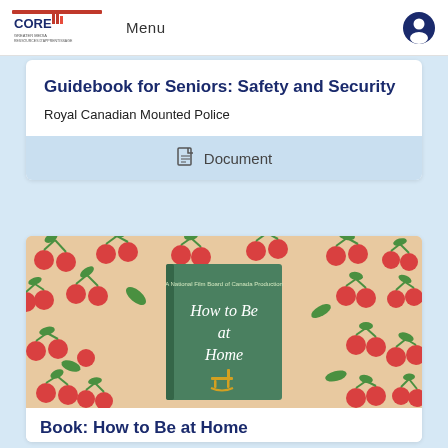CORE | Menu
Guidebook for Seniors: Safety and Security
Royal Canadian Mounted Police
Document
[Figure (illustration): Book cover 'How to Be at Home' – A National Film Board of Canada Production, shown on a cream background with red cherry and green leaf pattern]
Book: How to Be at Home